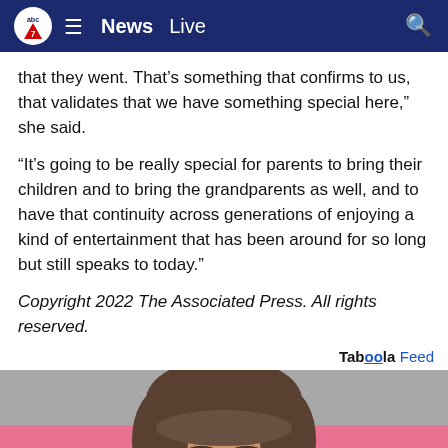abc7 News Live
that they went. That’s something that confirms to us, that validates that we have something special here,” she said.
“It’s going to be really special for parents to bring their children and to bring the grandparents as well, and to have that continuity across generations of enjoying a kind of entertainment that has been around for so long but still speaks to today.”
Copyright 2022 The Associated Press. All rights reserved.
Taboola Feed
[Figure (photo): Close-up photo of a young woman with brown hair styled up with bangs, against a pink and grey background]